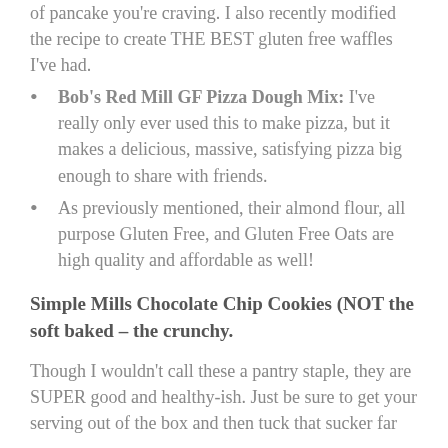of pancake you're craving. I also recently modified the recipe to create THE BEST gluten free waffles I've had.
Bob's Red Mill GF Pizza Dough Mix: I've really only ever used this to make pizza, but it makes a delicious, massive, satisfying pizza big enough to share with friends.
As previously mentioned, their almond flour, all purpose Gluten Free, and Gluten Free Oats are high quality and affordable as well!
Simple Mills Chocolate Chip Cookies (NOT the soft baked – the crunchy.
Though I wouldn't call these a pantry staple, they are SUPER good and healthy-ish. Just be sure to get your serving out of the box and then tuck that sucker far